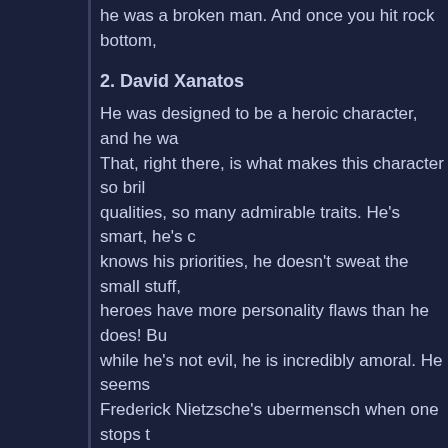he was a broken man. And once you hit rock bottom,
2. David Xanatos
He was designed to be a heroic character, and he wa... That, right there, is what makes this character so bril... qualities, so many admirable traits. He's smart, he's c... knows his priorities, he doesn't sweat the small stuff,... heroes have more personality flaws than he does! Bu... while he's not evil, he is incredibly amoral. He seems... Frederick Nietzsche's ubermensch when one stops t...
I am actually struggling here, what more can be said... already been said? He's designed many tropes all by... like him in animation before, and even after he's left,... quite like him. He doesn't surround himself with dimw... and scream when they fail. No, quite the opposite, he... competent people. His assistant and majordomo, Ow... so rarely loses. In sixty-five episodes, and eighteen o... actual losses on one hand. Aside from that, he alway... when he doesn't, he doesn't throw a fit and scream, h... next plan. There are always contingencies. This gu...